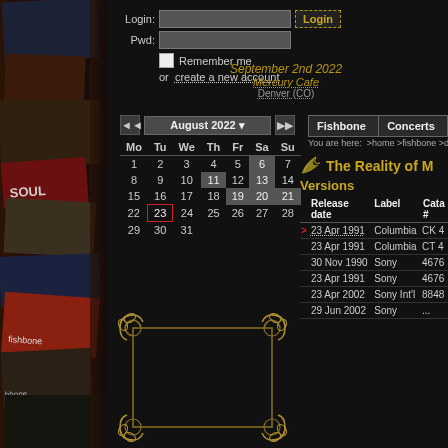[Figure (illustration): Left decorative strip with stacked concert poster artwork in dark reds, blues, and tans, forming a collage background]
Login:
Pwd:
Remember me
or  create a new account
September 2nd 2022
Mercury Cafe
Denver (CO)
[Figure (other): Calendar widget showing August 2022 with navigation arrows. Day 23 highlighted with red border. Days 6, 11, 13, 19, 20, 21 highlighted in gray.]
| Fishbone | Concerts |
| --- | --- |
You are here:  >home >fishbone >discography >
The Reality of M
Versions
| Release date | Label | Cata # |
| --- | --- | --- |
| > | 23 Apr 1991 | Columbia | CK 4 |
|  | 23 Apr 1991 | Columbia | CT 4 |
|  | 30 Nov 1990 | Sony | 4676 |
|  | 23 Apr 1991 | Sony | 4676 |
|  | 23 Apr 2002 | Sony Int'l | 8848 |
|  | 29 Jun 2002 | Sony | ... |
[Figure (illustration): Ornamental decorative border with baroque/rococo style gold scrollwork corners and frame lines]